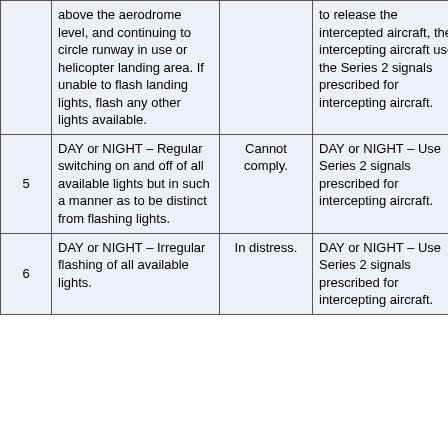|  | Signal | Meaning | Intercepted aircraft signal | Reply |
| --- | --- | --- | --- | --- |
|  | above the aerodrome level, and continuing to circle runway in use or helicopter landing area. If unable to flash landing lights, flash any other lights available. |  | to release the intercepted aircraft, the intercepting aircraft uses the Series 2 signals prescribed for intercepting aircraft. | you may proceed. |
| 5 | DAY or NIGHT – Regular switching on and off of all available lights but in such a manner as to be distinct from flashing lights. | Cannot comply. | DAY or NIGHT – Use Series 2 signals prescribed for intercepting aircraft. | Understood. |
| 6 | DAY or NIGHT – Irregular flashing of all available lights. | In distress. | DAY or NIGHT – Use Series 2 signals prescribed for intercepting aircraft. | Understood. |